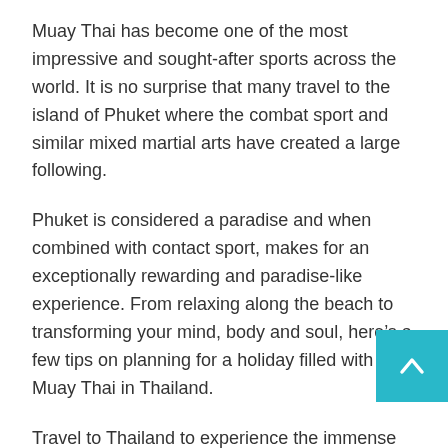Muay Thai has become one of the most impressive and sought-after sports across the world. It is no surprise that many travel to the island of Phuket where the combat sport and similar mixed martial arts have created a large following.
Phuket is considered a paradise and when combined with contact sport, makes for an exceptionally rewarding and paradise-like experience. From relaxing along the beach to transforming your mind, body and soul, here’s a few tips on planning for a holiday filled with Muay Thai in Thailand.
Travel to Thailand to experience the immense rewards that a holiday in the most exotic region of the world can provide. Thailand offers travelers the best of both worlds. It is a blend of modern living and high-powered businesses to ancient traditions and cultural practices.
Most holiday goers spend their travels in the island of Phuket. The island presents breath-taking views of the beach and the